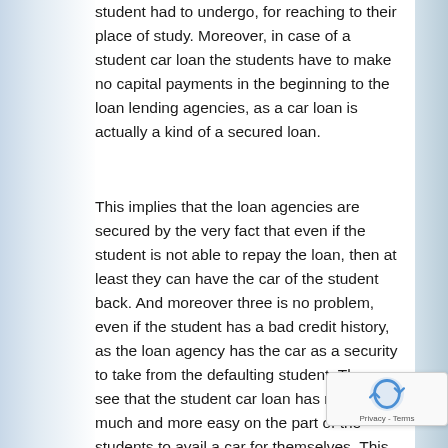student had to undergo, for reaching to their place of study. Moreover, in case of a student car loan the students have to make no capital payments in the beginning to the loan lending agencies, as a car loan is actually a kind of a secured loan.
This implies that the loan agencies are secured by the very fact that even if the student is not able to repay the loan, then at least they can have the car of the student back. And moreover three is no problem, even if the student has a bad credit history, as the loan agency has the car as a security to take from the defaulting student. Thus, we see that the student car loan has made it much and more easy on the part of the students to avail a car for themselves. This article's coverage of the information is as complete as it can be today. But you should always leave open the possibility that